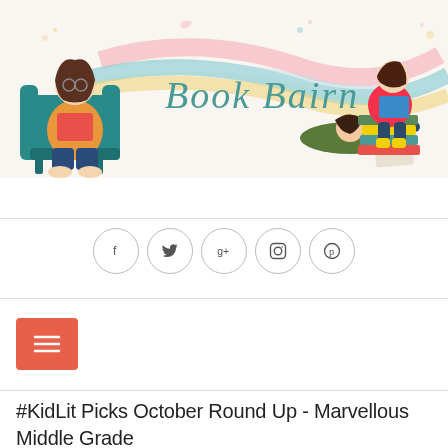[Figure (illustration): Book Bairn blog header illustration. Features a woman with glasses sitting in a teal armchair reading a book, colorful swooping ribbons in pink, teal, and yellow with the handwritten text 'Book Bairn', a child lying on the floor reading, and a girl sitting on a stack of books reading.]
[Figure (infographic): Row of five social media icon circles: Facebook (f), Twitter (bird), Google+ (g+), Instagram (camera), Pinterest (p)]
[Figure (other): Red/coral hamburger menu button with three horizontal lines icon]
#KidLit Picks October Round Up - Marvellous Middle Grade